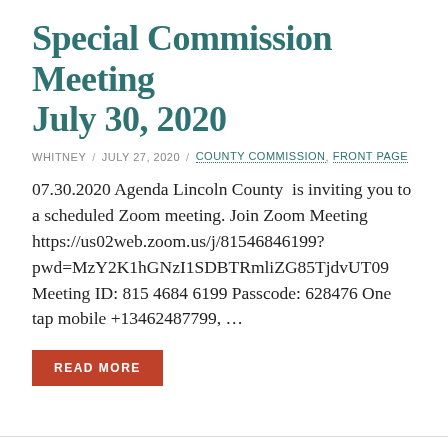Special Commission Meeting July 30, 2020
WHITNEY / JULY 27, 2020 / COUNTY COMMISSION, FRONT PAGE
07.30.2020 Agenda Lincoln County  is inviting you to a scheduled Zoom meeting. Join Zoom Meeting https://us02web.zoom.us/j/81546846199?pwd=MzY2K1hGNzI1SDBTRmliZG85TjdvUT09 Meeting ID: 815 4684 6199 Passcode: 628476 One tap mobile +13462487799, ...
READ MORE
REQUEST YOUR ABSENTEE